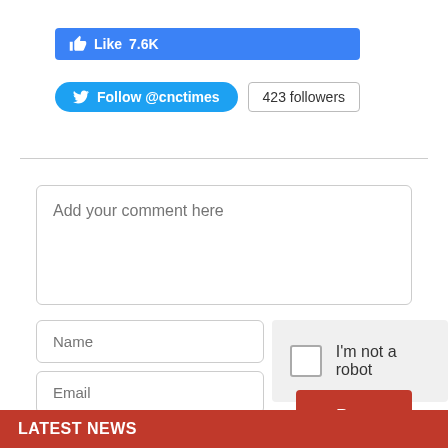[Figure (screenshot): Facebook Like button showing 7.6K likes]
[Figure (screenshot): Twitter Follow @cnctimes button with 423 followers badge]
[Figure (screenshot): Comment form with textarea, Name field, Email field, I'm not a robot captcha checkbox, and Post button]
LATEST NEWS